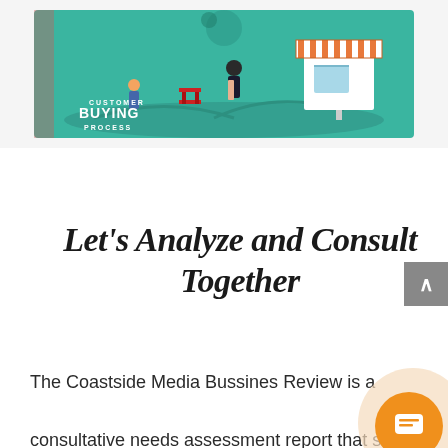[Figure (illustration): Customer Buying Process infographic banner with teal background showing isometric shopping scene with figures, a kiosk with striped awning, and text 'CUSTOMER BUYING PROCESS']
Let's Analyze and Consult Together
The Coastside Media Bussines Review is a consultative needs assessment report that scans